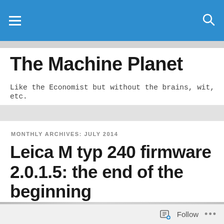The Machine Planet — navigation bar with hamburger menu and search icon
The Machine Planet
Like the Economist but without the brains, wit, etc.
MONTHLY ARCHIVES: JULY 2014
Leica M typ 240 firmware 2.0.1.5: the end of the beginning
[Figure (photo): Close-up photo of a Leica M camera body showing the 'M' lettering, a black button/port, and the red Leica circle logo on the right side of a silver metallic body]
Follow ...